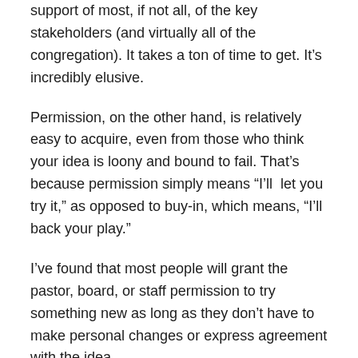support of most, if not all, of the key stakeholders (and virtually all of the congregation). It takes a ton of time to get. It's incredibly elusive.
Permission, on the other hand, is relatively easy to acquire, even from those who think your idea is loony and bound to fail. That's because permission simply means “I’ll  let you try it,” as opposed to buy-in, which means, “I’ll back your play.”
I’ve found that most people will grant the pastor, board, or staff permission to try something new as long as they don’t have to make personal changes or express agreement with the idea.